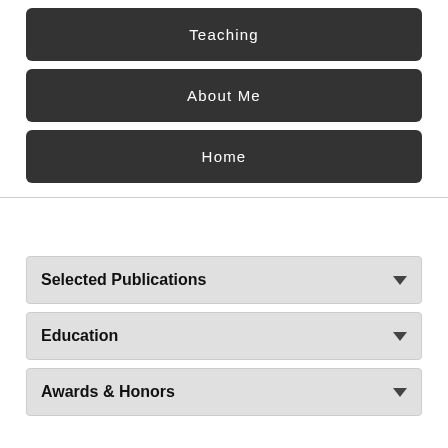Teaching
About Me
Home
Selected Publications
Education
Awards & Honors